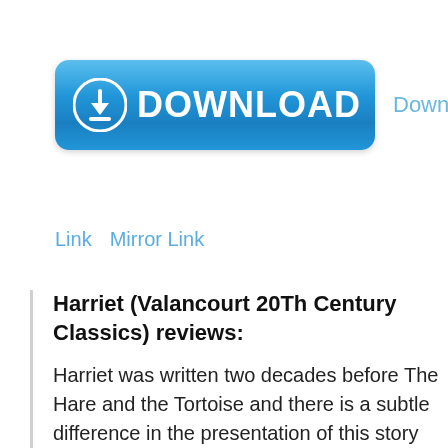[Figure (other): Blue download button with download arrow icon and DOWNLOAD text in white]
Download
Link   Mirror Link
Harriet (Valancourt 20Th Century Classics) reviews:
Harriet was written two decades before The Hare and the Tortoise and there is a subtle difference in the presentation of this story compared to the brilliance of the former.Nevertheless, Harriet will …